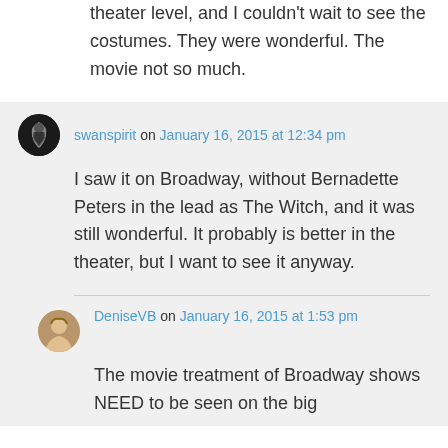theater level, and I couldn't wait to see the costumes. They were wonderful. The movie not so much.
swanspirit on January 16, 2015 at 12:34 pm
I saw it on Broadway, without Bernadette Peters in the lead as The Witch, and it was still wonderful. It probably is better in the theater, but I want to see it anyway.
DeniseVB on January 16, 2015 at 1:53 pm
The movie treatment of Broadway shows NEED to be seen on the big...